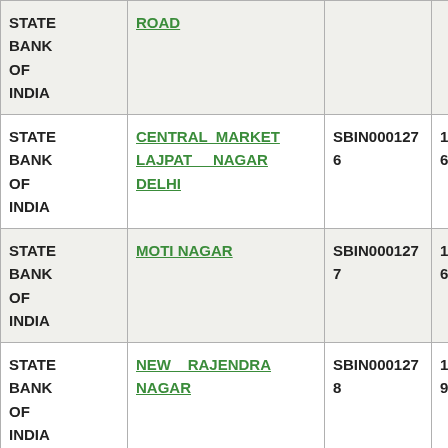| BANK | BRANCH | IFSC | MICR |
| --- | --- | --- | --- |
| STATE BANK OF INDIA | ROAD |  |  |
| STATE BANK OF INDIA | CENTRAL MARKET LAJPAT NAGAR DELHI | SBIN0001276 | 110002016 |
| STATE BANK OF INDIA | MOTI NAGAR | SBIN0001277 | 110002076 |
| STATE BANK OF INDIA | NEW RAJENDRA NAGAR | SBIN0001278 | 110002089 |
| STATE BANK OF INDIA | CLOCK TOWER SUBJI MANDI | SBIN0001280 | 110002021 |